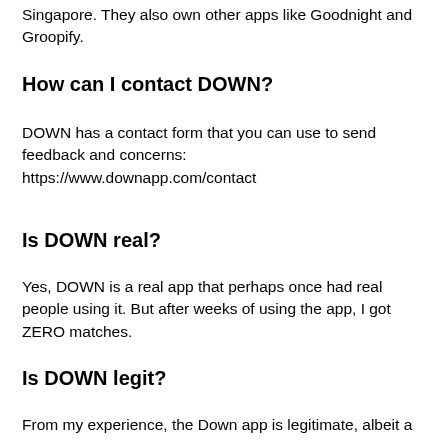Singapore. They also own other apps like Goodnight and Groopify.
How can I contact DOWN?
DOWN has a contact form that you can use to send feedback and concerns:
https://www.downapp.com/contact
Is DOWN real?
Yes, DOWN is a real app that perhaps once had real people using it. But after weeks of using the app, I got ZERO matches.
Is DOWN legit?
From my experience, the Down app is legitimate, albeit a